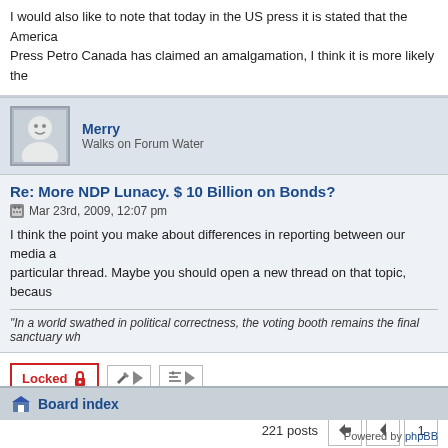I would also like to note that today in the US press it is stated that the America Press Petro Canada has claimed an amalgamation, I think it is more likely the
Merry
Walks on Forum Water
Re: More NDP Lunacy. $ 10 Billion on Bonds?
Mar 23rd, 2009, 12:07 pm
I think the point you make about differences in reporting between our media a particular thread. Maybe you should open a new thread on that topic, becaus
"In a world swathed in political correctness, the voting booth remains the final sanctuary wh
Locked  [tool buttons]  221 posts
Board index
Powered by phpBB